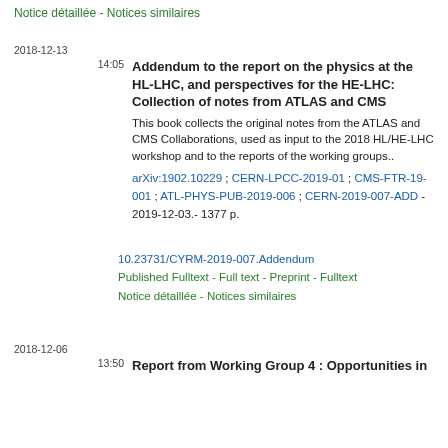Notice détaillée - Notices similaires
2018-12-13
14:05
Addendum to the report on the physics at the HL-LHC, and perspectives for the HE-LHC: Collection of notes from ATLAS and CMS
This book collects the original notes from the ATLAS and CMS Collaborations, used as input to the 2018 HL/HE-LHC workshop and to the reports of the working groups..
arXiv:1902.10229 ; CERN-LPCC-2019-01 ; CMS-FTR-19-001 ; ATL-PHYS-PUB-2019-006 ; CERN-2019-007-ADD - 2019-12-03.- 1377 p.
10.23731/CYRM-2019-007.Addendum
Published Fulltext - Full text - Preprint - Fulltext
Notice détaillée - Notices similaires
2018-12-06
13:50
Report from Working Group 4 : Opportunities in